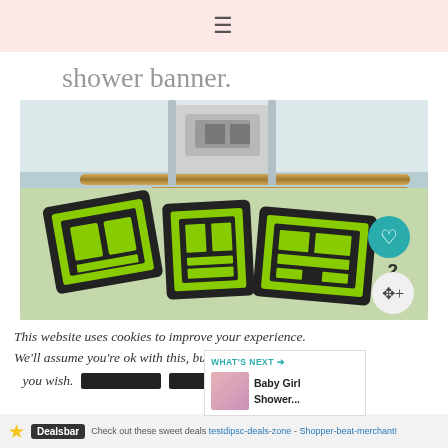≡
shower banner.
[Figure (photo): Photo of a Cricut cutting machine with dark foam/paper letter cut-outs in neon green on a green cutting mat]
This website uses cookies to improve your experience. We'll assume you're ok with this, but you [redacted] [redacted]
Dealsbar — Check out these sweet deals — [link text]